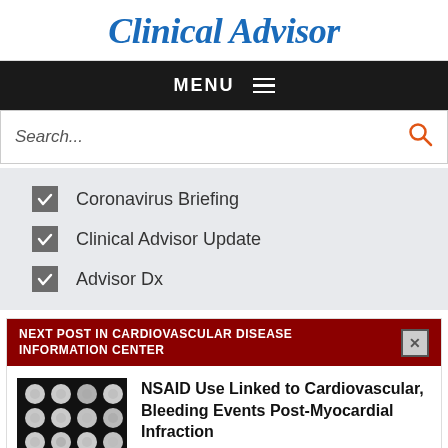Clinical Advisor
MENU
Search...
Coronavirus Briefing
Clinical Advisor Update
Advisor Dx
NEXT POST IN CARDIOVASCULAR DISEASE INFORMATION CENTER
NSAID Use Linked to Cardiovascular, Bleeding Events Post-Myocardial Infraction
Clinical Advisor